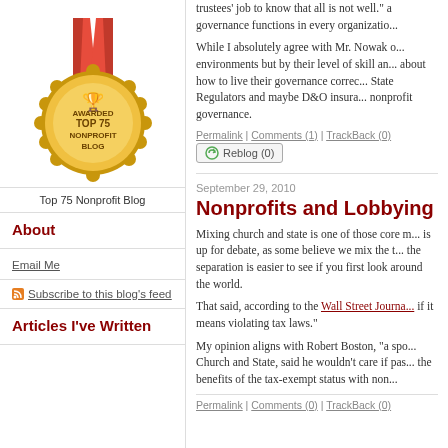[Figure (illustration): Gold award medal with red ribbon, text: AWARDED TOP 75 NONPROFIT BLOG]
Top 75 Nonprofit Blog
About
Email Me
Subscribe to this blog's feed
Articles I've Written
trustees' job to know that all is not well." a governance functions in every organizatio...
While I absolutely agree with Mr. Nowak o... environments but by their level of skill an... about how to live their governance correc... State Regulators and maybe D&O insura... nonprofit governance.
Permalink | Comments (1) | TrackBack (0)
Reblog (0)
September 29, 2010
Nonprofits and Lobbying
Mixing church and state is one of those core m... is up for debate, as some believe we mix the t... the separation is easier to see if you first look around the world.
That said, according to the Wall Street Journa... if it means violating tax laws."
My opinion aligns with Robert Boston, "a spo... Church and State, said he wouldn't care if pas... the benefits of the tax-exempt status with non...
Permalink | Comments (0) | TrackBack (0)